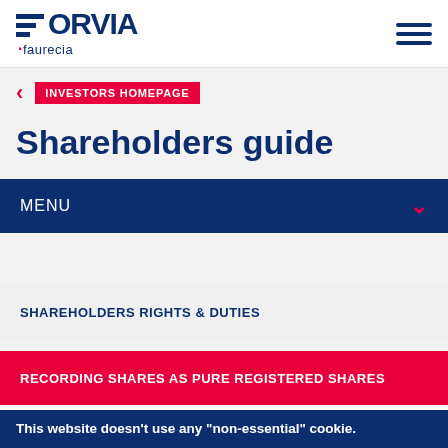FORVIA ·faurecia
INVESTORS HOMEPAGE
Shareholders guide
MENU
SHAREHOLDERS RIGHTS & DUTIES
RECORDING SHARES AS PURE REGISTERED SHARES
This website doesn't use any "non-essential" cookie.